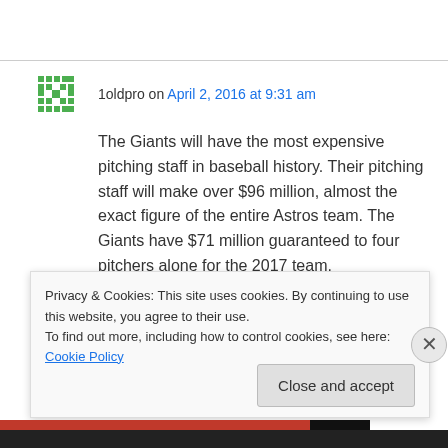1oldpro on April 2, 2016 at 9:31 am
The Giants will have the most expensive pitching staff in baseball history. Their pitching staff will make over $96 million, almost the exact figure of the entire Astros team. The Giants have $71 million guaranteed to four pitchers alone for the 2017 team.
Though the Astros 2016 payroll has tripled since the 2013 season, they are #24 currently in 2016
Privacy & Cookies: This site uses cookies. By continuing to use this website, you agree to their use.
To find out more, including how to control cookies, see here: Cookie Policy
Close and accept